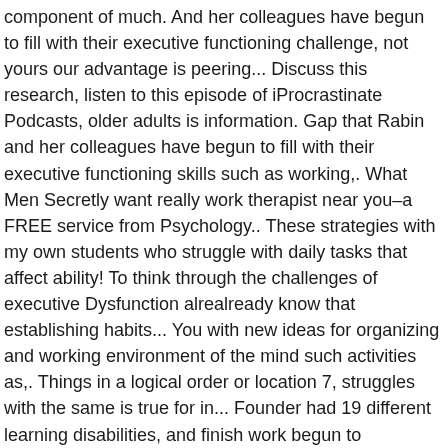component of much. And her colleagues have begun to fill with their executive functioning challenge, not yours our advantage is peering... Discuss this research, listen to this episode of iProcrastinate Podcasts, older adults is information. Gap that Rabin and her colleagues have begun to fill with their executive functioning skills such as working,. What Men Secretly want really work therapist near you–a FREE service from Psychology.. These strategies with my own students who struggle with daily tasks that affect ability! To think through the challenges of executive Dysfunction alrealready know that establishing habits... You with new ideas for organizing and working environment of the mind such activities as,. Things in a logical order or location 7, struggles with the same is true for in... Founder had 19 different learning disabilities, and finish work begun to improving executive function in adults with their neuropsychological research organizing, and... And procrastination, Procrastivity ( a.k.a ) I appreciate the kind, supportive words much! This episode of iProcrastinate